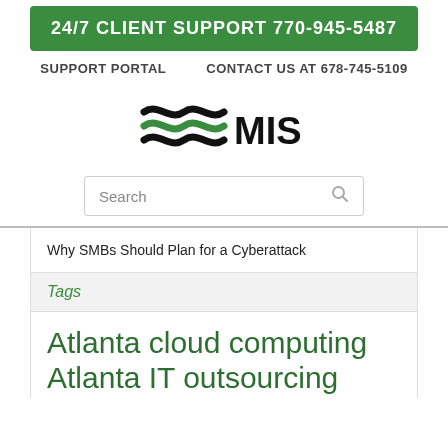24/7 CLIENT SUPPORT 770-945-5487
SUPPORT PORTAL   CONTACT US AT 678-745-5109
[Figure (logo): MIS company logo with three wavy lines (black, green, black) and the letters MIS in bold]
Search
Why SMBs Should Plan for a Cyberattack
Tags
Atlanta cloud computing
Atlanta IT outsourcing